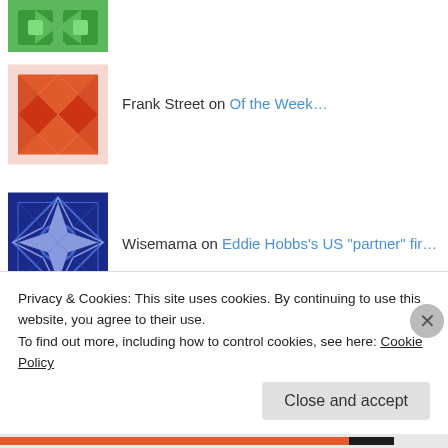[Figure (illustration): Green geometric quilt-pattern avatar]
[Figure (illustration): Red/salmon geometric quilt-pattern avatar for Frank Street]
Frank Street on Of the Week…
[Figure (illustration): Navy blue geometric quilt-pattern avatar for Wisemama]
Wisemama on Eddie Hobbs’s US “partner” fir…
[Figure (illustration): Olive/green geometric quilt-pattern avatar for John Gallaher]
John Gallaher on Of the Week…
[Figure (illustration): Olive/green geometric quilt-pattern avatar for John Gallaher (second)]
John Gallaher on Of the Week…
[Figure (photo): Tiger photo avatar for who_shot_the_tiger]
who_shot_the_tiger on Eddie Hobbs’s US “partner” fir…
Privacy & Cookies: This site uses cookies. By continuing to use this website, you agree to their use. To find out more, including how to control cookies, see here: Cookie Policy
Close and accept